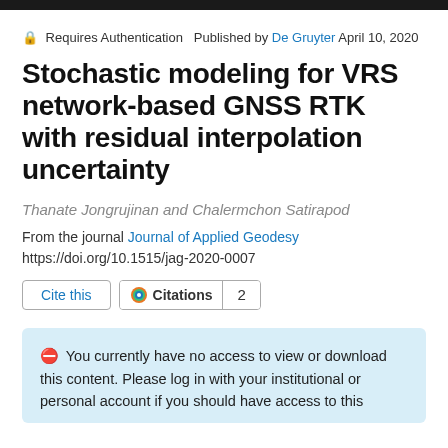Requires Authentication  Published by De Gruyter  April 10, 2020
Stochastic modeling for VRS network-based GNSS RTK with residual interpolation uncertainty
Thanate Jongrujinan and Chalermchon Satirapod
From the journal Journal of Applied Geodesy
https://doi.org/10.1515/jag-2020-0007
Cite this  Citations  2
You currently have no access to view or download this content. Please log in with your institutional or personal account if you should have access to this